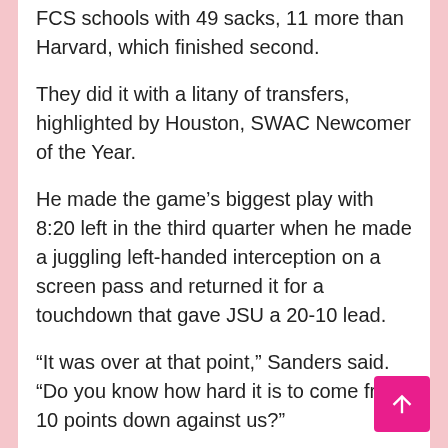FCS schools with 49 sacks, 11 more than Harvard, which finished second.
They did it with a litany of transfers, highlighted by Houston, SWAC Newcomer of the Year.
He made the game's biggest play with 8:20 left in the third quarter when he made a juggling left-handed interception on a screen pass and returned it for a touchdown that gave JSU a 20-10 lead.
“It was over at that point,” Sanders said. “Do you know how hard it is to come from 10 points down against us?”
Houston, a graduate transfer from Florida, entered the championship game with 20.5 tackles for loss (fourth in the country), 14.5 sacks (second) and seven forced fumbles (first).